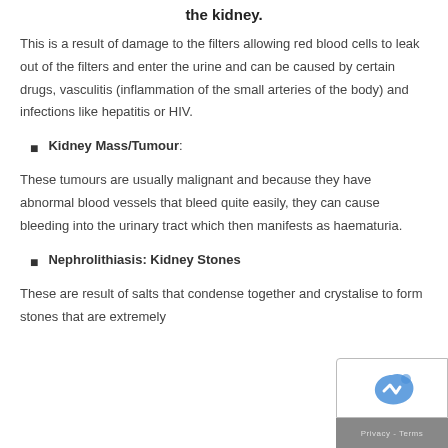the kidney.
This is a result of damage to the filters allowing red blood cells to leak out of the filters and enter the urine and can be caused by certain drugs, vasculitis (inflammation of the small arteries of the body) and infections like hepatitis or HIV.
Kidney Mass/Tumour:
These tumours are usually malignant and because they have abnormal blood vessels that bleed quite easily, they can cause bleeding into the urinary tract which then manifests as haematuria.
Nephrolithiasis: Kidney Stones
These are result of salts that condense together and crystalise to form stones that are extremely